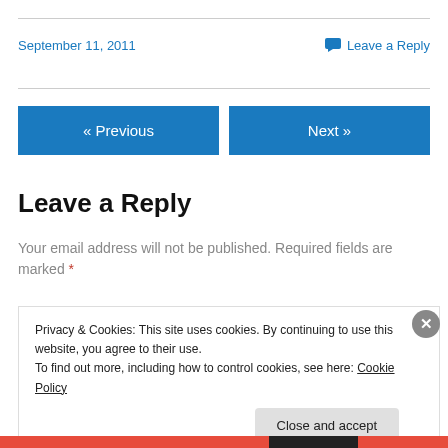September 11, 2011
Leave a Reply
« Previous
Next »
Leave a Reply
Your email address will not be published. Required fields are marked *
Privacy & Cookies: This site uses cookies. By continuing to use this website, you agree to their use.
To find out more, including how to control cookies, see here: Cookie Policy
Close and accept